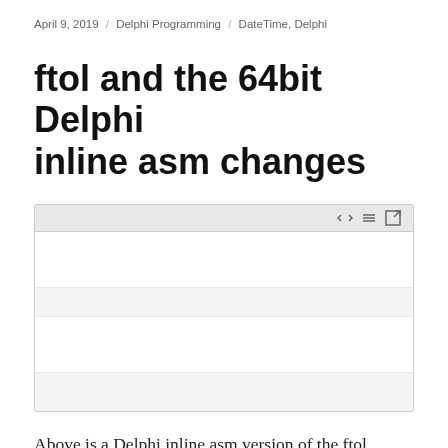April 9, 2019 / Delphi Programming / DateTime, Delphi
ftol and the 64bit Delphi inline asm changes
[Figure (screenshot): Code block widget with toolbar icons (code brackets, lines, expand) and alternating light/white rows representing a code editor or syntax-highlighted code snippet area]
Above is a Delphi inline asm version of the ftol (Floating Point to Integer Conversion) function used by our HotPDF Delphi PDF component.